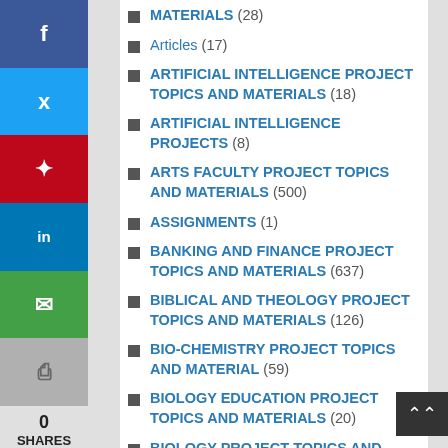MATERIALS (28)
Articles (17)
ARTIFICIAL INTELLIGENCE PROJECT TOPICS AND MATERIALS (18)
ARTIFICIAL INTELLIGENCE PROJECTS (8)
ARTS FACULTY PROJECT TOPICS AND MATERIALS (500)
ASSIGNMENTS (1)
BANKING AND FINANCE PROJECT TOPICS AND MATERIALS (637)
BIBLICAL AND THEOLOGY PROJECT TOPICS AND MATERIALS (126)
BIO-CHEMISTRY PROJECT TOPICS AND MATERIAL (59)
BIOLOGY EDUCATION PROJECT TOPICS AND MATERIALS (20)
BIOLOGY PROJECT TOPICS AND MATERIALS (121)